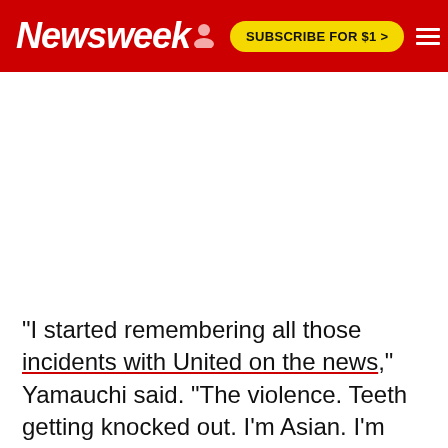Newsweek | SUBSCRIBE FOR $1 >
"I started remembering all those incidents with United on the news," Yamauchi said. "The violence. Teeth getting knocked out. I'm Asian. I'm scared and I felt uncomfortable. I didn't